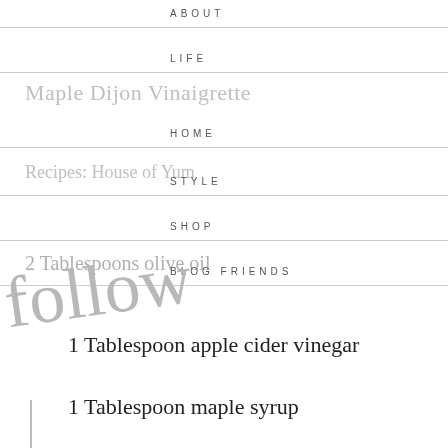ABOUT
Maple Dijon Vinaigrette
LIFE
HOME
Recipes: House of Yum
STYLE
SHOP
2 Tablespoons olive oil
BLOG FRIENDS
1 Tablespoon apple cider vinegar
1 Tablespoon maple syrup
1 1/2 teaspoon Dijon mustard